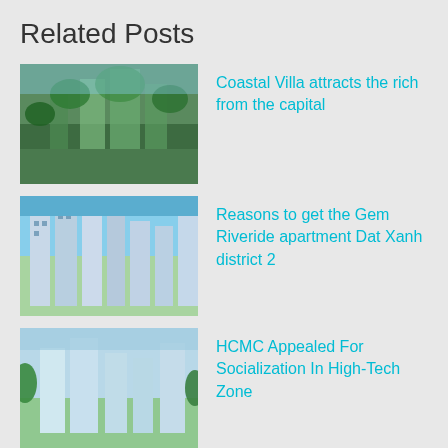Related Posts
[Figure (photo): Aerial view of coastal city with green trees and tall buildings]
Coastal Villa attracts the rich from the capital
[Figure (photo): Blue sky with tall residential apartment towers]
Reasons to get the Gem Riveride apartment Dat Xanh district  2
[Figure (photo): Modern apartment buildings with greenery]
HCMC Appealed For Socialization In High-Tech Zone
[Figure (photo): Collage of people and garden apartment images]
The perfect living environment in Garden Keppel Land apartment
[Figure (photo): Tall residential building with palm trees]
Thu Duc House ‘shakes hands’ with Daewon to launch new project in East Saigon